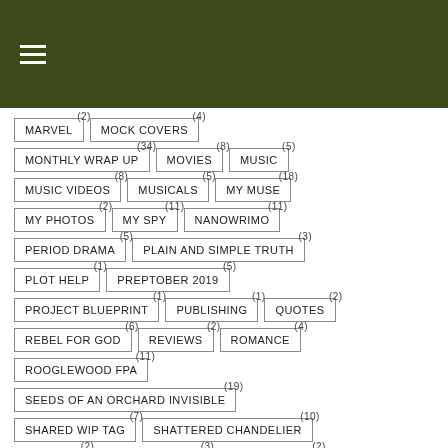≡ (hamburger menu)
MARVEL (2)
MOCK COVERS (4)
MONTHLY WRAP UP (34)
MOVIES (8)
MUSIC (5)
MUSIC VIDEOS (8)
MUSICALS (5)
MY MUSE (18)
MY PHOTOS (2)
MY SPY (11)
NANOWRIMO (11)
PERIOD DRAMA (5)
PLAIN AND SIMPLE TRUTH (3)
PLOT HELP (1)
PREPTOBER 2019 (5)
PROJECT BLUEPRINT (1)
PUBLISHING (1)
QUOTES (2)
REBEL FOR GOD (6)
REVIEWS (2)
ROMANCE (4)
ROOGLEWOOD FPA (11)
SEEDS OF AN ORCHARD INVISIBLE (19)
SHARED WIP TAG (7)
SHATTERED CHANDELIER (10)
SHAXPIR (2)
SHIELD-MAIDEN (3)
SHORT STORY (2)